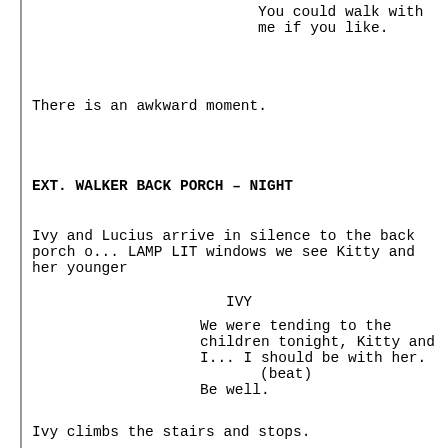You could walk with me if you like.
There is an awkward moment.
EXT. WALKER BACK PORCH – NIGHT
Ivy and Lucius arrive in silence to the back porch o... LAMP LIT windows we see Kitty and her younger...
IVY
We were tending to the children tonight, Kitty and I... I should be with her.
(beat)
Be well.
Ivy climbs the stairs and stops.
IVY
I heard my parents speaking of you. I know of  your request to go to the towns. I think it is...